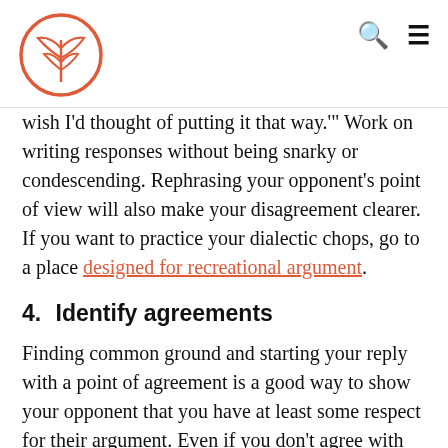[Logo: stylized tree/leaf icon] [Search icon] [Menu icon]
wish I'd thought of putting it that way.'" Work on writing responses without being snarky or condescending. Rephrasing your opponent's point of view will also make your disagreement clearer. If you want to practice your dialectic chops, go to a place designed for recreational argument.
4.  Identify agreements
Finding common ground and starting your reply with a point of agreement is a good way to show your opponent that you have at least some respect for their argument. Even if you don't agree with anything they say, show that you at least understand it by restating some or all of it as you begin. The vast majority of people you